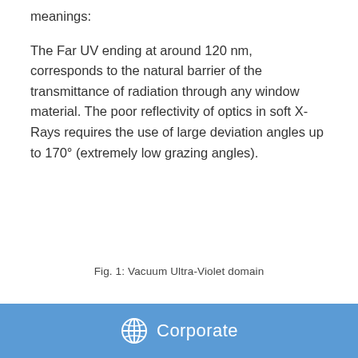meanings:
The Far UV ending at around 120 nm, corresponds to the natural barrier of the transmittance of radiation through any window material. The poor reflectivity of optics in soft X-Rays requires the use of large deviation angles up to 170° (extremely low grazing angles).
Fig. 1: Vacuum Ultra-Violet domain
If Vacuum Ultra-Violet radiation is blocked by
Corporate